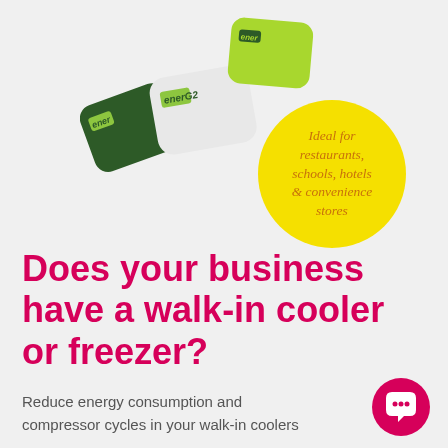[Figure (photo): Three EnerG2 branded small rectangular devices/products in dark green, white, and lime green colors, arranged overlapping each other on a light gray background. A yellow circular badge overlays the image with italic text reading 'Ideal for restaurants, schools, hotels & convenience stores' in orange.]
Does your business have a walk-in cooler or freezer?
Reduce energy consumption and compressor cycles in your walk-in coolers